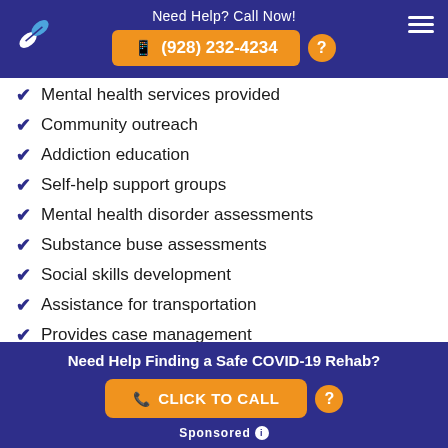Need Help? Call Now! (928) 232-4234
Mental health services provided
Community outreach
Addiction education
Self-help support groups
Mental health disorder assessments
Substance buse assessments
Social skills development
Assistance for transportation
Provides case management
Need Help Finding a Safe COVID-19 Rehab? CLICK TO CALL Sponsored